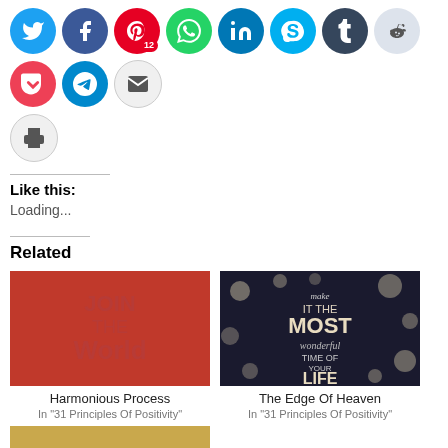[Figure (other): Social media sharing icons: Twitter, Facebook, Pinterest (badge 12), WhatsApp, LinkedIn, Skype, Tumblr, Reddit, Pocket, Telegram, Email, Print]
Like this:
Loading...
Related
[Figure (photo): Red background image with stylized text 'Join The World']
Harmonious Process
In "31 Principles Of Positivity"
[Figure (photo): Dark background with polka dots and text 'make IT THE MOST wonderful TIME OF YOUR LIFE']
The Edge Of Heaven
In "31 Principles Of Positivity"
[Figure (photo): Partial gold/yellow image at bottom (cropped)]